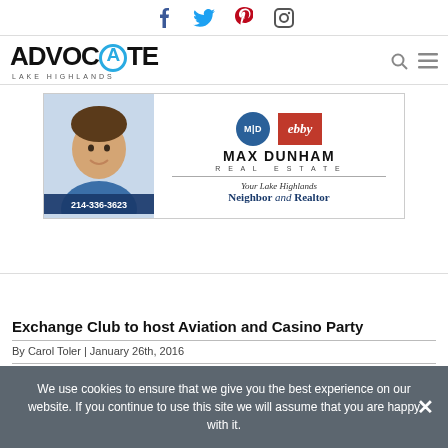Social icons: Facebook, Twitter, Pinterest, Instagram
[Figure (logo): Advocate Lake Highlands logo with search and menu icons]
[Figure (infographic): Max Dunham Real Estate advertisement. MD logo circle, Ebby Halliday logo. Text: MAX DUNHAM REAL ESTATE. Your Lake Highlands Neighbor and Realtor. Phone: 214-336-3623]
Exchange Club to host Aviation and Casino Party
By Carol Toler | January 26th, 2016
We use cookies to ensure that we give you the best experience on our website. If you continue to use this site we will assume that you are happy with it.